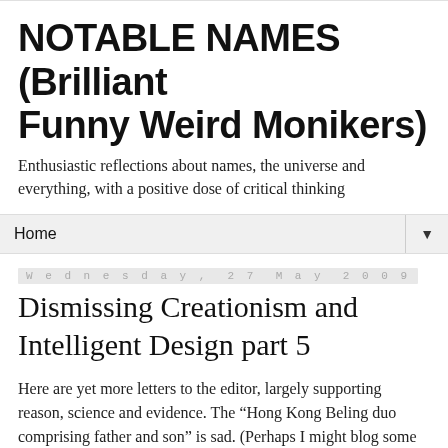NOTABLE NAMES (Brilliant Funny Weird Monikers)
Enthusiastic reflections about names, the universe and everything, with a positive dose of critical thinking
Home ▼
Wednesday, 27 May 2009
Dismissing Creationism and Intelligent Design part 5
Here are yet more letters to the editor, largely supporting reason, science and evidence. The “Hong Kong Beling duo comprising father and son” is sad. (Perhaps I might blog some more on this later?)